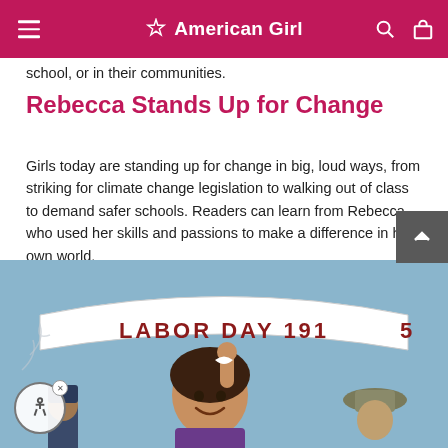American Girl
school, or in their communities.
Rebecca Stands Up for Change
Girls today are standing up for change in big, loud ways, from striking for climate change legislation to walking out of class to demand safer schools. Readers can learn from Rebecca, who used her skills and passions to make a difference in her own world.
[Figure (illustration): Illustrated book cover or scene showing a young girl smiling and raising her hand beneath a banner reading 'LABOR DAY 1915', with other figures in period clothing visible behind her. Set against a blue sky background.]